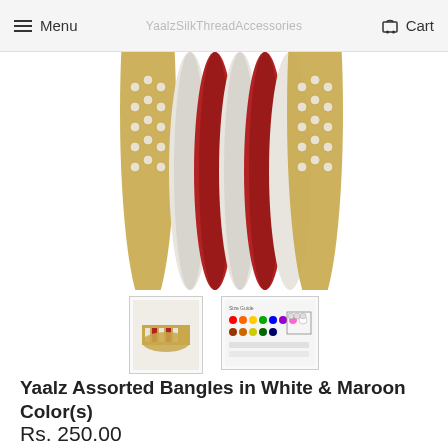Menu  YaalzSilkThreadAccessories  Cart
[Figure (photo): Close-up of Yaalz assorted bangles in white and maroon/red colors with gold and crystal embellishments, top view showing the curved edges.]
[Figure (photo): Thumbnail 1: Side view of the white and maroon bangles stacked together.]
[Figure (photo): Thumbnail 2: Color chart/size guide graphic showing various bangle colors and sizes.]
Yaalz Assorted Bangles in White & Maroon Color(s)
Rs. 250.00
Color
Size Guide
White & Maroon